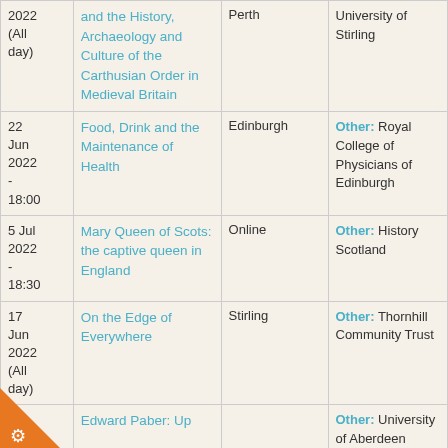| Date | Event | Location | Organiser |
| --- | --- | --- | --- |
| 2022 (All day) | and the History, Archaeology and Culture of the Carthusian Order in Medieval Britain | Perth | University of Stirling |
| 22 Jun 2022 - 18:00 | Food, Drink and the Maintenance of Health | Edinburgh | Other: Royal College of Physicians of Edinburgh |
| 5 Jul 2022 - 18:30 | Mary Queen of Scots: the captive queen in England | Online | Other: History Scotland |
| 17 Jun 2022 (All day) | On the Edge of Everywhere | Stirling | Other: Thornhill Community Trust |
| 16 | Edward Paber: Up |  | Other: University of Aberdeen |